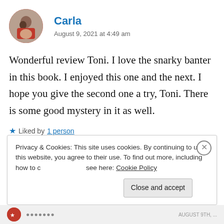[Figure (photo): Circular avatar photo of user Carla, showing a person in a red shirt holding a child]
Carla
August 9, 2021 at 4:49 am
Wonderful review Toni. I love the snarky banter in this book. I enjoyed this one and the next. I hope you give the second one a try, Toni. There is some good mystery in it as well.
★ Liked by 1 person
Privacy & Cookies: This site uses cookies. By continuing to use this website, you agree to their use. To find out more, including how to control cookies, see here: Cookie Policy
Close and accept